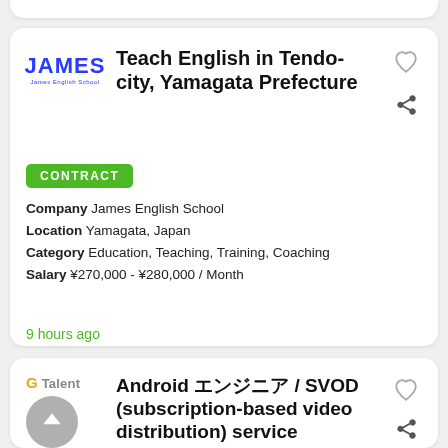[Figure (screenshot): Partial job listing card at top of page (cut off)]
Teach English in Tendo-city, Yamagata Prefecture
CONTRACT
Company  James English School
Location  Yamagata, Japan
Category  Education, Teaching, Training, Coaching
Salary  ¥270,000 - ¥280,000 / Month
9 hours ago
Android エンジニア / SVOD (subscription-based video distribution) service